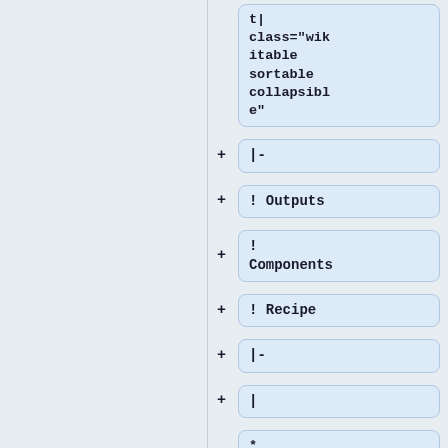[Figure (flowchart): A vertical flowchart/tree structure showing wiki markup nodes. Each node is a rounded rectangle with light blue background containing monospace code text. Nodes visible: 'class="wikitable sortable collapsible"', '|-', '! Outputs', '! Components', '! Recipe', '|-', '|', '* [[Image:Vessel_bag.png|link=Ba'. Each node except the first has a '+' connector on its left side.]
t|
class="wikitable sortable collapsible"
|-
! Outputs
! Components
! Recipe
|-
|
* [[Image:Vessel_bag.png|link=Ba